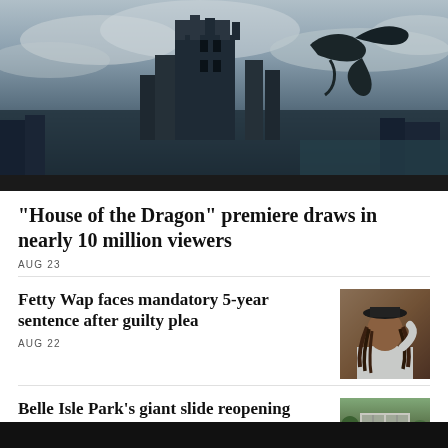[Figure (photo): Dark fantasy scene showing a large gothic castle/tower with a dragon flying nearby against a cloudy sky, city visible in background]
"House of the Dragon" premiere draws in nearly 10 million viewers
AUG 23
Fetty Wap faces mandatory 5-year sentence after guilty plea
AUG 22
[Figure (photo): Portrait of Fetty Wap, a man with dreadlocks wearing a grey sweatshirt, hand raised to his head]
Belle Isle Park's giant slide reopening again after making adjustments to control